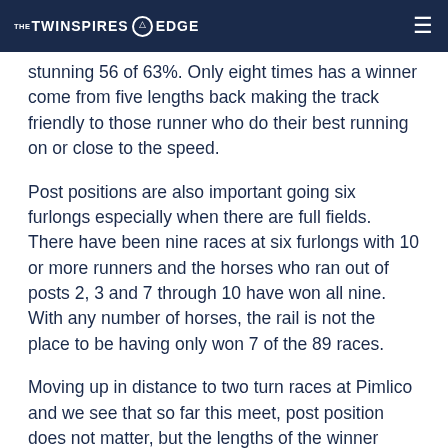THE TWINSPIRES EDGE
stunning 56 of 63%. Only eight times has a winner come from five lengths back making the track friendly to those runner who do their best running on or close to the speed.
Post positions are also important going six furlongs especially when there are full fields. There have been nine races at six furlongs with 10 or more runners and the horses who ran out of posts 2, 3 and 7 through 10 have won all nine. With any number of horses, the rail is not the place to be having only won 7 of the 89 races.
Moving up in distance to two turn races at Pimlico and we see that so far this meet, post position does not matter, but the lengths of the winner behind the speed may surprise some